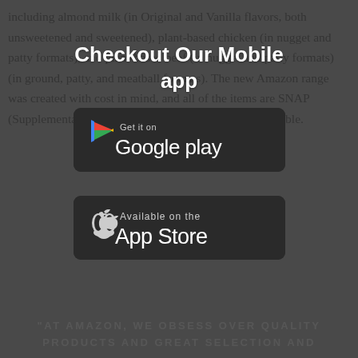including almond milk (in Original and Vanilla flavors, both unsweetened and sweetened), plant-based chicken (in nugget and patty formats), and plant-based beef (in nugget and patty formats) (in ground, patty, and meatball formats). The new Amazon range was created with cost in mind, and all of the items are SNAP (Supplemental Nutrition Assistance Program) EBT eligible.
Checkout Our Mobile app
[Figure (screenshot): Google Play store badge - Get it on Google Play]
[Figure (screenshot): Apple App Store badge - Available on the App Store]
"AT AMAZON, WE OBSESS OVER QUALITY PRODUCTS AND GREAT SELECTION AND